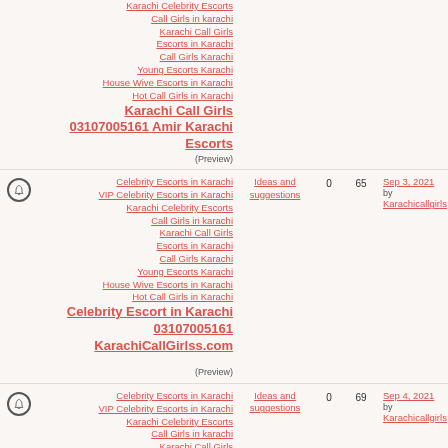Karachi Celebrity Escorts
Call Girls in karachi
Karachi Call Girls
Escorts in Karachi
Call Girls Karachi
Young Escorts Karachi
House Wive Escorts in Karachi
Hot Call Girls in Karachi
Karachi Call Girls 03107005161 Amir Karachi Escorts (Preview)
Celebrity Escorts in Karachi VIP Celebrity Escorts in Karachi Karachi Celebrity Escorts Call Girls in karachi Karachi Call Girls Escorts in Karachi Call Girls Karachi Young Escorts Karachi House Wive Escorts in Karachi Hot Call Girls in Karachi Celebrity Escort in Karachi 03107005161 KarachiCallGirlss.com (Preview) | Ideas and suggestions | 0 | 65 | Sep 3, 2021 by Karachicallgirls
Celebrity Escorts in Karachi VIP Celebrity Escorts in Karachi Karachi Celebrity Escorts Call Girls in karachi Karachi Call Girls Escorts in Karachi Call Girls Karachi Young Escorts Karachi House Wive Escorts in Karachi Hot Call Girls in Karachi | Ideas and suggestions | 0 | 69 | Sep 4, 2021 by Karachicallgirls